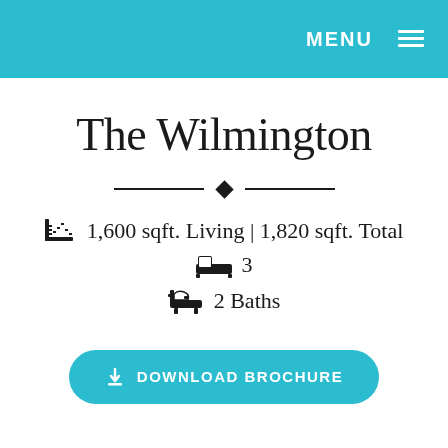MENU ≡
The Wilmington
1,600 sqft. Living | 1,820 sqft. Total
3
2 Baths
DOWNLOAD BROCHURE